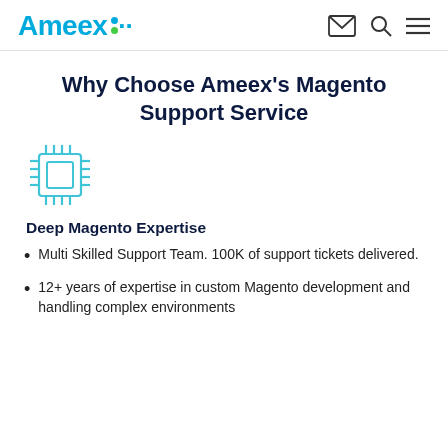Ameex [logo with mail, search, menu icons]
Why Choose Ameex's Magento Support Service
[Figure (illustration): Teal/cyan chip/microprocessor icon]
Deep Magento Expertise
Multi Skilled Support Team. 100K of support tickets delivered.
12+ years of expertise in custom Magento development and handling complex environments